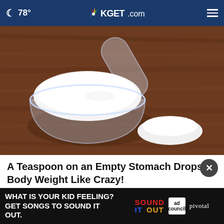78° KGET.com
[Figure (photo): A clear plastic measuring scoop filled with white powder sitting on a wooden surface, with a small pile of white powder beside it]
A Teaspoon on an Empty Stomach Drops Body Weight Like Crazy!
Trending New Finds
[Figure (other): Advertisement banner: WHAT IS YOUR KID FEELING? GET SONGS TO SOUND IT OUT. Sound It Out, Ad Council, pivotal]